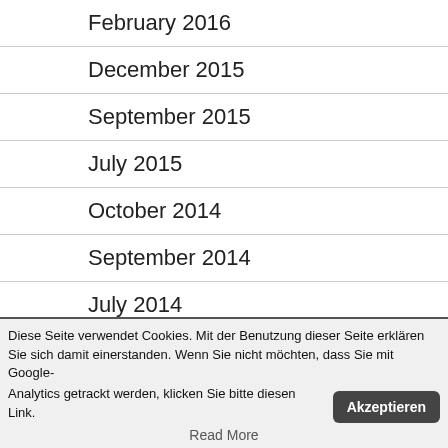February 2016
December 2015
September 2015
July 2015
October 2014
September 2014
July 2014
Diese Seite verwendet Cookies. Mit der Benutzung dieser Seite erklären Sie sich damit einerstanden. Wenn Sie nicht möchten, dass Sie mit Google-Analytics getrackt werden, klicken Sie bitte diesen Link.
Akzeptieren
Read More